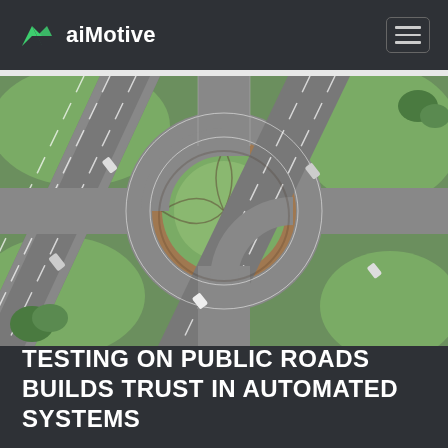aiMotive
[Figure (photo): Aerial view of a roundabout intersection with a highway crossing through it diagonally. Multiple cars visible on the roads. Green grass areas surround the roundabout. Overhead/bird's eye perspective.]
TESTING ON PUBLIC ROADS BUILDS TRUST IN AUTOMATED SYSTEMS